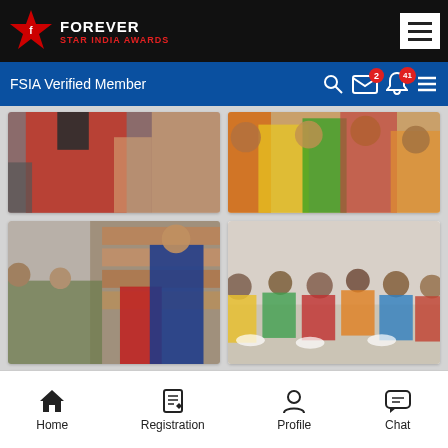Forever Star India Awards — FSIA Verified Member
[Figure (photo): Top-left photo: partial view of a woman in a red outfit on steps]
[Figure (photo): Top-right photo: group of women in colorful saris]
[Figure (photo): Middle-left photo: woman in blue jacket distributing items at a market stall with children]
[Figure (photo): Middle-right photo: group of children sitting and eating on the floor]
[Figure (photo): Bottom-left photo: partially visible interior scene with children]
[Figure (photo): Bottom-right photo: partially visible interior scene with a person]
Home  Registration  Profile  Chat